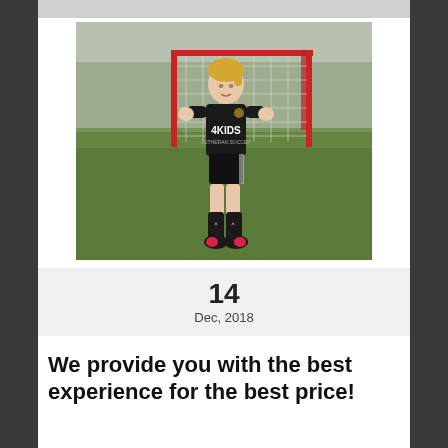[Figure (photo): Young girl in black 4KIDS soccer jersey and shorts, standing in front of a red soccer goal net on a grass field, wearing black knee socks and pink cleats, smiling at camera]
14
Dec, 2018
We provide you with the best experience for the best price!